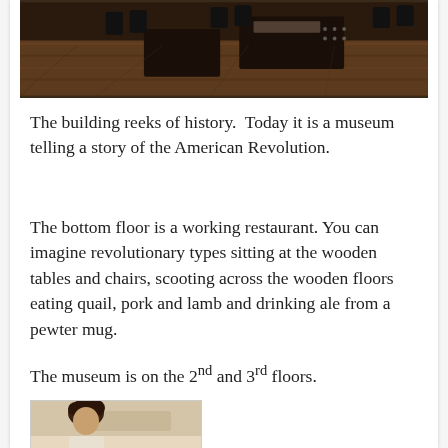[Figure (photo): Interior of a restaurant with wooden tables, chairs, and wooden floors, photographed from above at an angle. Dark setting with warm lighting.]
The building reeks of history.  Today it is a museum telling a story of the American Revolution.
The bottom floor is a working restaurant. You can imagine revolutionary types sitting at the wooden tables and chairs, scooting across the wooden floors eating quail, pork and lamb and drinking ale from a pewter mug.
The museum is on the 2nd and 3rd floors.
[Figure (photo): Partial photo of a person with curly hair in what appears to be an interior setting.]